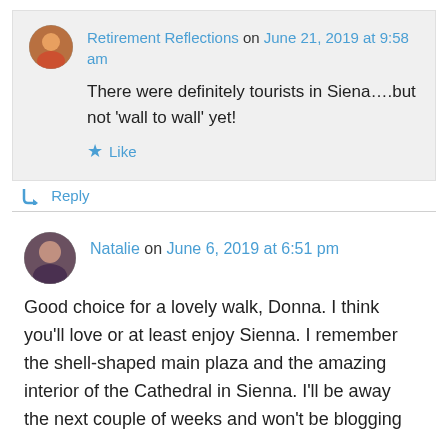Retirement Reflections on June 21, 2019 at 9:58 am
There were definitely tourists in Siena….but not 'wall to wall' yet!
Like
Reply
Natalie on June 6, 2019 at 6:51 pm
Good choice for a lovely walk, Donna. I think you'll love or at least enjoy Sienna. I remember the shell-shaped main plaza and the amazing interior of the Cathedral in Sienna. I'll be away the next couple of weeks and won't be blogging